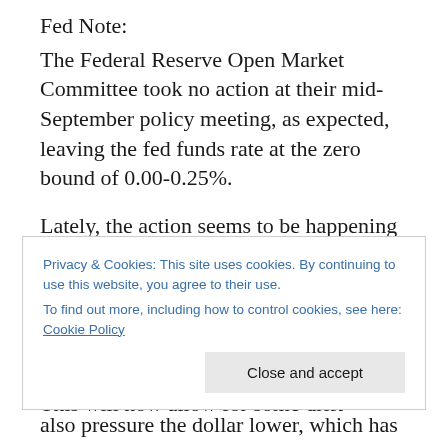Fed Note:
The Federal Reserve Open Market Committee took no action at their mid-September policy meeting, as expected, leaving the fed funds rate at the zero bound of 0.00-0.25%.
Lately, the action seems to be happening between meetings. The Fed announced a new inflation targeting policy that will utilize an ‘averaging’ method based on recent inflation trends as opposed to the simpler meeting-by-meeting assessment. This will now allow for some drift
Privacy & Cookies: This site uses cookies. By continuing to use this website, you agree to their use.
To find out more, including how to control cookies, see here: Cookie Policy
also pressure the dollar lower, which has some economic